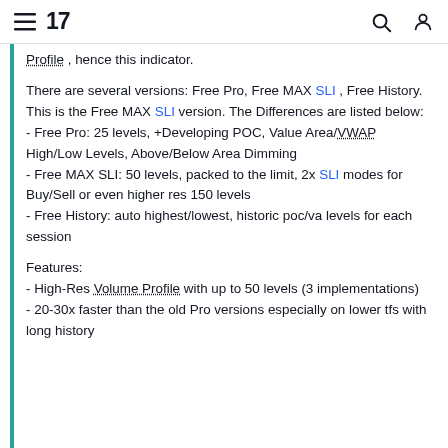TradingView navigation header with logo, search, and user icons
Profile , hence this indicator.
There are several versions: Free Pro, Free MAX SLI , Free History. This is the Free MAX SLI version. The Differences are listed below:
- Free Pro: 25 levels, +Developing POC, Value Area/VWAP High/Low Levels, Above/Below Area Dimming
- Free MAX SLI: 50 levels, packed to the limit, 2x SLI modes for Buy/Sell or even higher res 150 levels
- Free History: auto highest/lowest, historic poc/va levels for each session
Features:
- High-Res Volume Profile with up to 50 levels (3 implementations)
- 20-30x faster than the old Pro versions especially on lower tfs with long history